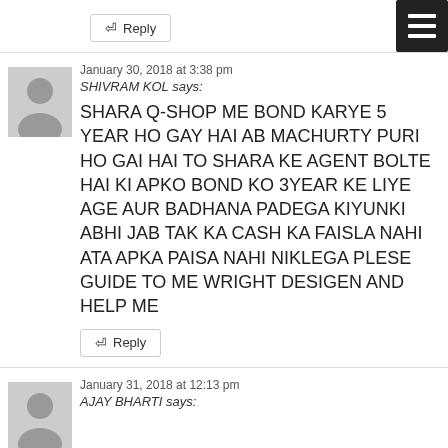Reply (partial top block)
January 30, 2018 at 3:38 pm
SHIVRAM KOL says:
SHARA Q-SHOP ME BOND KARYE 5 YEAR HO GAY HAI AB MACHURTY PURI HO GAI HAI TO SHARA KE AGENT BOLTE HAI KI APKO BOND KO 3YEAR KE LIYE AGE AUR BADHANA PADEGA KIYUNKI ABHI JAB TAK KA CASH KA FAISLA NAHI ATA APKA PAISA NAHI NIKLEGA PLESE GUIDE TO ME WRIGHT DESIGEN AND HELP ME
Reply
January 31, 2018 at 12:13 pm
AJAY BHARTI says: